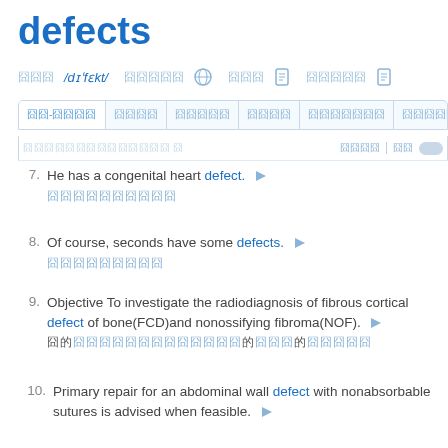defects
囧囧/dɪˈfɛkt/ 囧囧囧囧🌐 囧囧囧📋 囧囧囧囧囧📋
囧囧-囧囧囧囧 | 囧囧囧囧 | 囧囧囧囧囧 | 囧囧囧囧 | 囧囧囧囧囧囧囧 | 囧囧囧囧囧
7. He has a congenital heart defect.
8. Of course, seconds have some defects.
9. Objective To investigate the radiodiagnosis of fibrous cortical defect of bone(FCD)and nonossifying fibroma(NOF).
10. Primary repair for an abdominal wall defect with nonabsorbable sutures is advised when feasible.